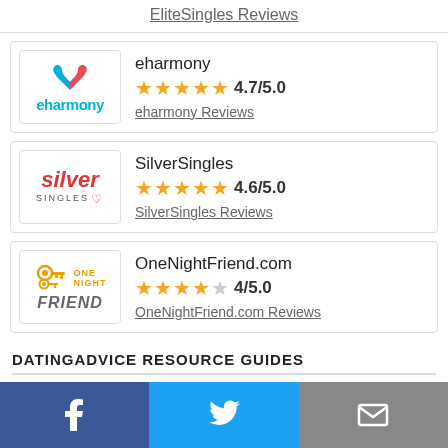EliteSingles Reviews
eharmony — 4.7/5.0 — eharmony Reviews
SilverSingles — 4.6/5.0 — SilverSingles Reviews
OneNightFriend.com — 4/5.0 — OneNightFriend.com Reviews
DATINGADVICE RESOURCE GUIDES
Most Popular
Facebook | Twitter | Email